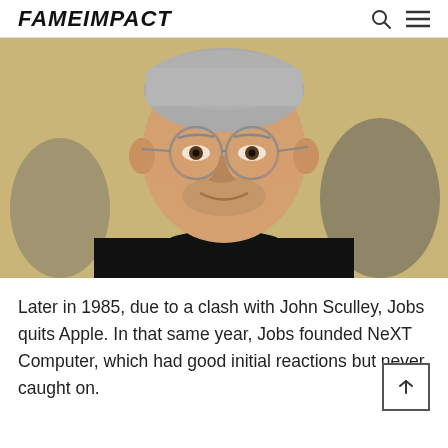FAMEIMPACT
[Figure (photo): Close-up portrait of Steve Jobs wearing round wire-frame glasses and a black turtleneck, smiling slightly, with a warm beige/yellow background and blurred figures behind him.]
Later in 1985, due to a clash with John Sculley, Jobs quits Apple. In that same year, Jobs founded NeXT Computer, which had good initial reactions but never caught on.